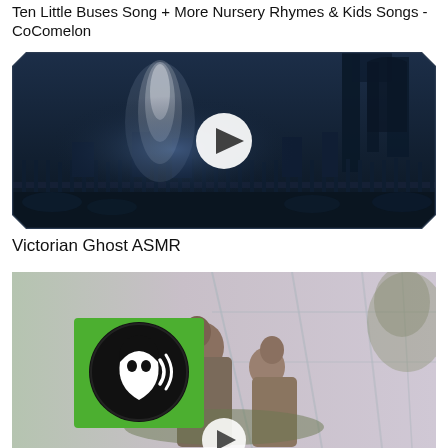Ten Little Buses Song + More Nursery Rhymes & Kids Songs - CoComelon
[Figure (screenshot): Dark gothic cemetery scene thumbnail with a ghost figure in white, iron fence, tombstones, misty blue atmosphere. Play button circle overlay in center. Decorative notched/beveled dark border around the image.]
Victorian Ghost ASMR
[Figure (screenshot): Video thumbnail showing two people in a greenhouse or glass dome structure. Green PBS logo (head with sound waves) in upper left corner. Play button partially visible at bottom center.]